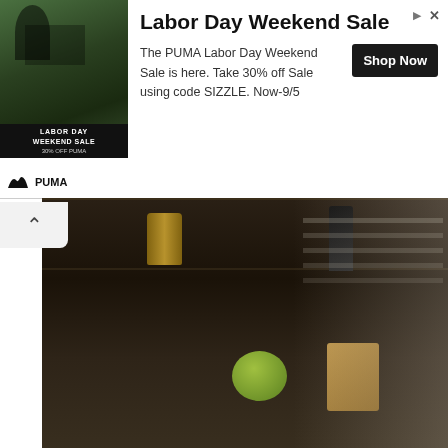[Figure (screenshot): PUMA Labor Day Weekend Sale advertisement banner with athlete photo, brand logo, promotional text, and Shop Now button]
[Figure (photo): Interior photo of dark wooden wall shelves with decorative items including a gold cylindrical object, dark bottle, green round object, and wooden block]
40 Wonderful Bathroom Wall Shelves That Will Fascinate You
About The Author
Hannah Watson
a blogger who enjoys hockey, glampi...